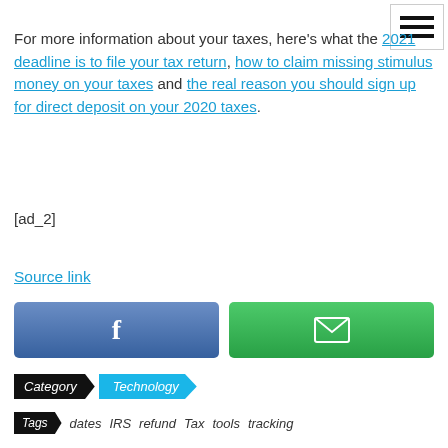For more information about your taxes, here's what the 2021 deadline is to file your tax return, how to claim missing stimulus money on your taxes and the real reason you should sign up for direct deposit on your 2020 taxes.
[ad_2]
Source link
[Figure (other): Facebook share button (blue) and Email share button (green)]
Category   Technology
Tags   dates   IRS   refund   Tax   tools   tracking
[Figure (other): Previous article navigation with image placeholder and Biden promises next article link]